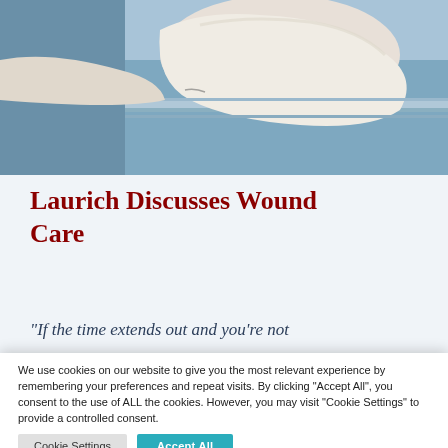[Figure (photo): Close-up photo of a gloved hand performing a medical procedure, with a metallic surface visible in the background. Light blue tones dominate.]
Laurich Discusses Wound Care
“If the time extends out and you’re not
We use cookies on our website to give you the most relevant experience by remembering your preferences and repeat visits. By clicking “Accept All”, you consent to the use of ALL the cookies. However, you may visit "Cookie Settings" to provide a controlled consent.